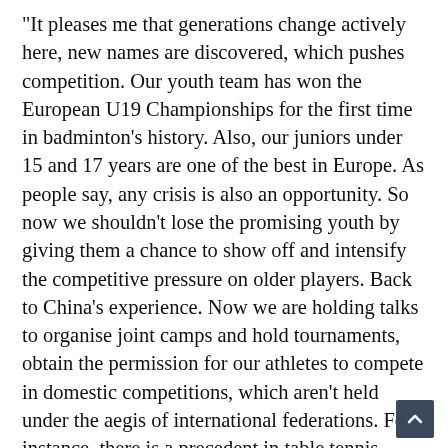“It pleases me that generations change actively here, new names are discovered, which pushes competition. Our youth team has won the European U19 Championships for the first time in badminton’s history. Also, our juniors under 15 and 17 years are one of the best in Europe. As people say, any crisis is also an opportunity. So now we shouldn’t lose the promising youth by giving them a chance to show off and intensify the competitive pressure on older players. Back to China’s experience. Now we are holding talks to organise joint camps and hold tournaments, obtain the permission for our athletes to compete in domestic competitions, which aren’t held under the aegis of international federations. For instance, there is a precedent in table tennis when two Russian teams excluded from a European Club Championship semi-final had to return because this tournament has its own status not related to the European federation.”